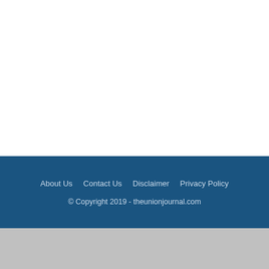About Us | Contact Us | Disclaimer | Privacy Policy
© Copyright 2019 - theunionjournal.com